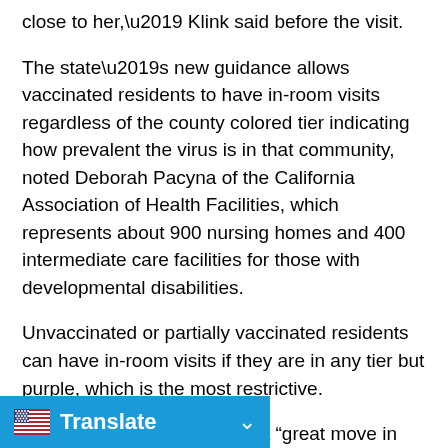close to her,’ Klink said before the visit.
The state’s new guidance allows vaccinated residents to have in-room visits regardless of the county colored tier indicating how prevalent the virus is in that community, noted Deborah Pacyna of the California Association of Health Facilities, which represents about 900 nursing homes and 400 intermediate care facilities for those with developmental disabilities.
Unvaccinated or partially vaccinated residents can have in-room visits if they are in any tier but purple, which is the most restrictive.
Pacyna called the guidance a “great move in the right direction for residents and families.”
“It’s the first step in meaningful re-unification,” she